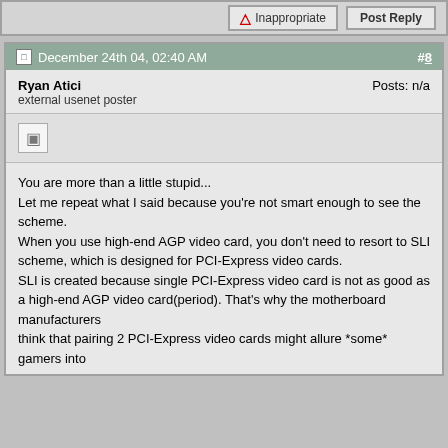Inappropriate | Post Reply
December 24th 04, 02:40 AM  #8
Ryan Atici
external usenet poster
Posts: n/a
You are more than a little stupid...
Let me repeat what I said because you're not smart enough to see the scheme.
When you use high-end AGP video card, you don't need to resort to SLI scheme, which is designed for PCI-Express video cards.
SLI is created because single PCI-Express video card is not as good as a high-end AGP video card(period). That's why the motherboard manufacturers
think that pairing 2 PCI-Express video cards might allure *some* gamers into